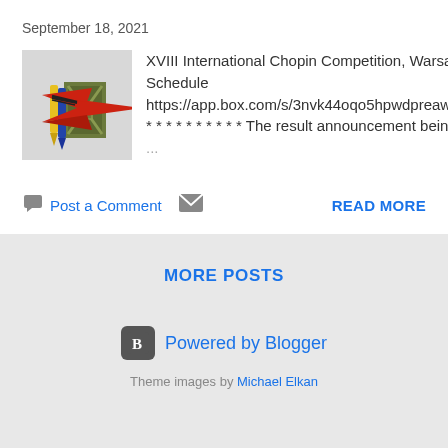September 18, 2021
[Figure (illustration): Thumbnail image showing a stylized illustration with a red bird/plane shape, yellow and blue pencil-like objects, and a green ornamental frame/door element on a light gray background.]
XVIII International Chopin Competition, Warsaw   Events Schedule https://app.box.com/s/3nvk44oqo5hpwdpreaw1alu92n2ikpkf * * * * * * * * * * The result announcement being made by Mr ...
Post a Comment
READ MORE
MORE POSTS
Powered by Blogger
Theme images by Michael Elkan